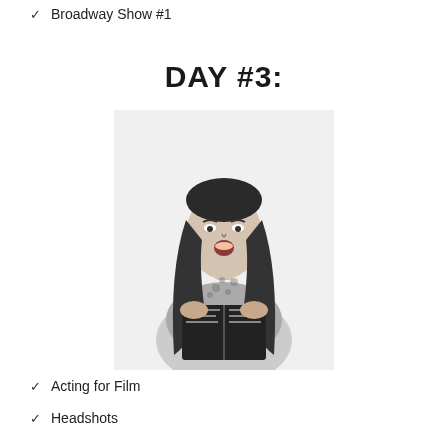✓ Broadway Show #1
DAY #3:
[Figure (photo): Black and white photo of a young woman with long dark hair, mouth open as if singing or acting, holding an open book/script, wearing a patterned sleeveless top, white background.]
✓ Acting for Film
✓ Headshots